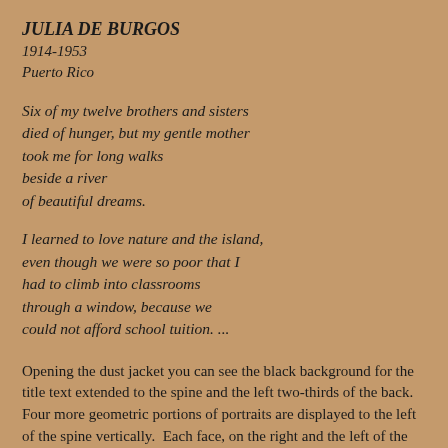JULIA DE BURGOS
1914-1953
Puerto Rico
Six of my twelve brothers and sisters
died of hunger, but my gentle mother
took me for long walks
beside a river
of beautiful dreams.
I learned to love nature and the island,
even though we were so poor that I
had to climb into classrooms
through a window, because we
could not afford school tuition. ...
Opening the dust jacket you can see the black background for the title text extended to the spine and the left two-thirds of the back.  Four more geometric portions of portraits are displayed to the left of the spine vertically.  Each face, on the right and the left of the jacket, conveys the full emotional